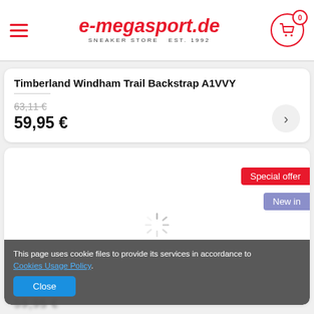e-megasport.de — SNEAKER STORE EST. 1992
Timberland Windham Trail Backstrap A1VVY
63,11 €
59,95 €
[Figure (screenshot): Product image area with loading spinner, Special offer badge (red), New in badge (purple)]
This page uses cookie files to provide its services in accordance to Cookies Usage Policy.
Close